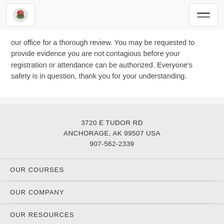[Logo and navigation menu header bar]
our office for a thorough review. You may be requested to provide evidence you are not contagious before your registration or attendance can be authorized. Everyone’s safety is in question, thank you for your understanding.
3720 E TUDOR RD
ANCHORAGE, AK 99507 USA
907-562-2339
OUR COURSES
OUR COMPANY
OUR RESOURCES